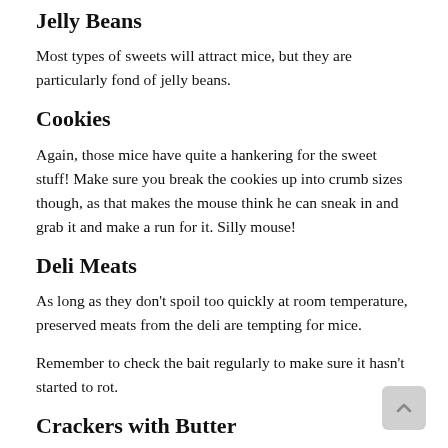Jelly Beans
Most types of sweets will attract mice, but they are particularly fond of jelly beans.
Cookies
Again, those mice have quite a hankering for the sweet stuff! Make sure you break the cookies up into crumb sizes though, as that makes the mouse think he can sneak in and grab it and make a run for it. Silly mouse!
Deli Meats
As long as they don't spoil too quickly at room temperature, preserved meats from the deli are tempting for mice.
Remember to check the bait regularly to make sure it hasn't started to rot.
Crackers with Butter